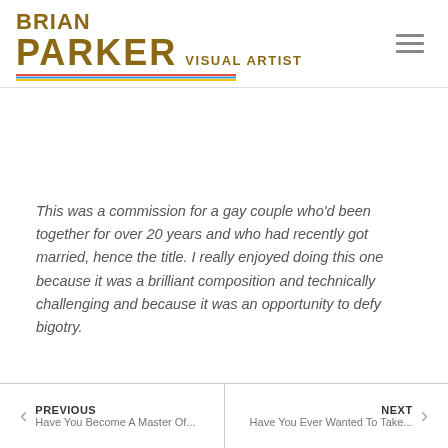BRIAN PARKER VISUAL ARTIST
This was a commission for a gay couple who'd been together for over 20 years and who had recently got married, hence the title. I really enjoyed doing this one because it was a brilliant composition and technically challenging and because it was an opportunity to defy bigotry.
PREVIOUS Have You Become A Master Of... | NEXT Have You Ever Wanted To Take...